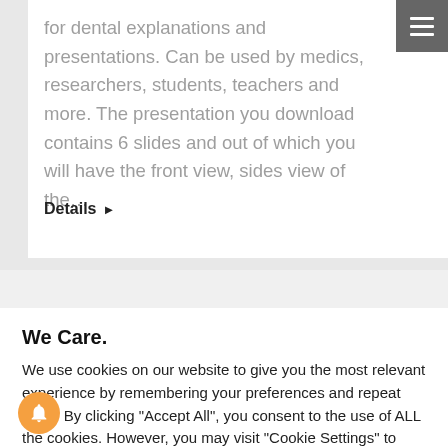for dental explanations and presentations. Can be used by medics, researchers, students, teachers and more. The presentation you download contains 6 slides and out of which you will have the front view, sides view of the…
Details ▶
We Care.
We use cookies on our website to give you the most relevant experience by remembering your preferences and repeat visits. By clicking "Accept All", you consent to the use of ALL the cookies. However, you may visit "Cookie Settings" to provide a controlled consent.
Cookie Settings | Accept All